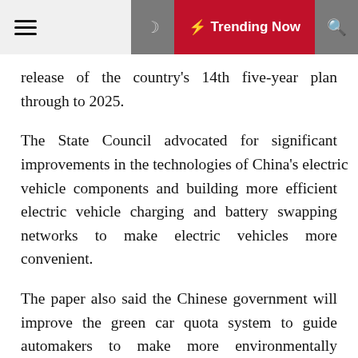☰ 🌙 ⚡ Trending Now 🔍
release of the country's 14th five-year plan through to 2025.
The State Council advocated for significant improvements in the technologies of China's electric vehicle components and building more efficient electric vehicle charging and battery swapping networks to make electric vehicles more convenient.
The paper also said the Chinese government will improve the green car quota system to guide automakers to make more environmentally friendly vehicles after it ends NEV subsidies in two years and boost NEV sales for public uses such as bus and trucks.
Companies including Tesla Inc., Volkswagen Group and Nio Inc. are expanding electric vehicle production in China, with sales expected to be around 1.1 million units this year.